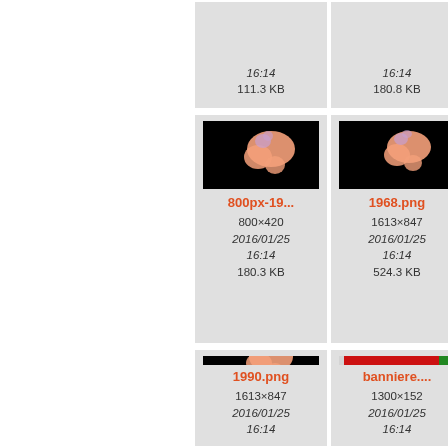[Figure (screenshot): File gallery/browser view showing image thumbnails with filenames, dimensions, dates, and file sizes. Partial top row shows two cells with metadata only (no thumbnail visible): 16:14 / 111.3 KB and 16:14 / 180.8 KB. Second row: 800px-19... (800×420, 2016/01/25 16:14, 180.3 KB) and 1968.png (1613×847, 2016/01/25 16:14, 524.3 KB). Third row: 1990.png (1613×847, 2016/01/25 16:14) and banniere.... (1300×152, 2016/01/25 16:14).]